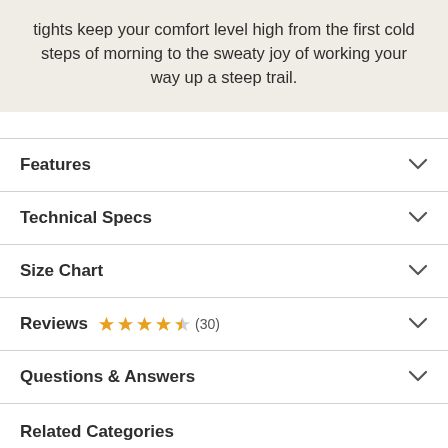tights keep your comfort level high from the first cold steps of morning to the sweaty joy of working your way up a steep trail.
Features
Technical Specs
Size Chart
Reviews ★★★★☆ (30)
Questions & Answers
Related Categories